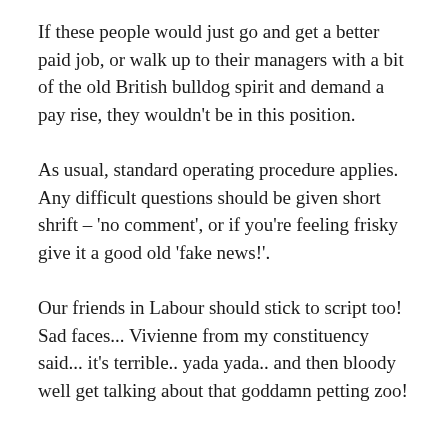If these people would just go and get a better paid job, or walk up to their managers with a bit of the old British bulldog spirit and demand a pay rise, they wouldn't be in this position.
As usual, standard operating procedure applies. Any difficult questions should be given short shrift – 'no comment', or if you're feeling frisky give it a good old 'fake news!'.
Our friends in Labour should stick to script too! Sad faces... Vivienne from my constituency said... it's terrible.. yada yada.. and then bloody well get talking about that goddamn petting zoo!